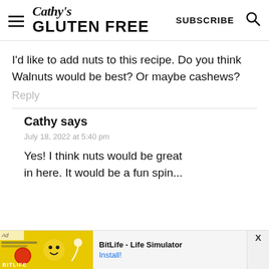Cathy's GLUTEN FREE | SUBSCRIBE
I'd like to add nuts to this recipe. Do you think Walnuts would be best? Or maybe cashews?
Reply
Cathy says
July 18, 2022 at 5:40 pm
Yes! I think nuts would be great in here. It would be a fun spin...
[Figure (screenshot): BitLife - Life Simulator advertisement banner with yellow/green app icon image and Install! button]